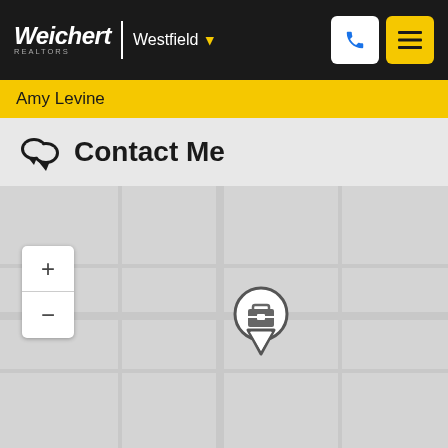Weichert | Westfield
Amy Levine
Contact Me
[Figure (map): Interactive map showing office location with a map pin marker containing a briefcase icon, zoom in/out controls on the left side]